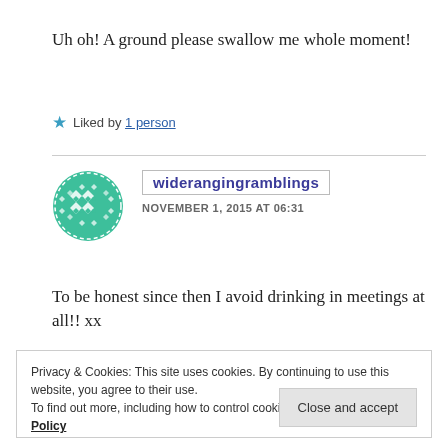Uh oh! A ground please swallow me whole moment!
★ Liked by 1 person
[Figure (logo): Green circular avatar with geometric diamond/rhombus pattern in teal/mint green color]
widerangingramblings
NOVEMBER 1, 2015 AT 06:31
To be honest since then I avoid drinking in meetings at all!! xx
Privacy & Cookies: This site uses cookies. By continuing to use this website, you agree to their use.
To find out more, including how to control cookies, see here: Cookie Policy
Close and accept